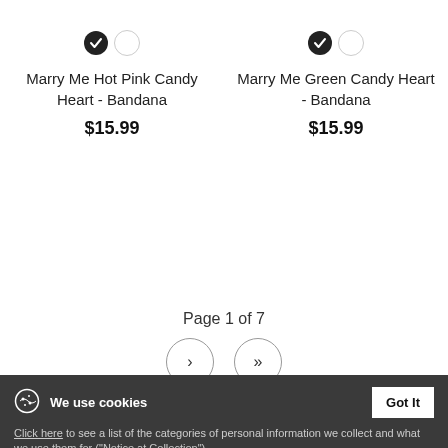[Figure (other): Product card: Marry Me Hot Pink Candy Heart - Bandana with color swatches and price $15.99]
[Figure (other): Product card: Marry Me Green Candy Heart - Bandana with color swatches and price $15.99]
Page 1 of 7
[Figure (other): Pagination buttons: next page (>) and last page (>>) circular buttons]
We use cookies
Click here to see a list of the categories of personal information we collect and what we use them for ("Notice at Collection").
Privacy Policy
Do Not Sell My Personal Information
By using this website, I agree to the Terms and Conditions
Legal Info